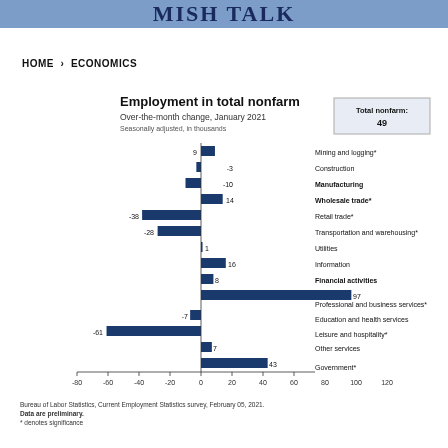MISH TALK
HOME > ECONOMICS
[Figure (bar-chart): Employment in total nonfarm]
Bureau of Labor Statistics, Current Employment Statistics survey, February 05, 2021.
Data are preliminary.
* denotes significance